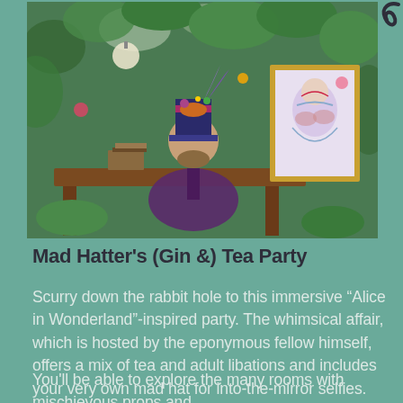[Figure (photo): A man dressed as the Mad Hatter sitting at a wooden desk surrounded by lush greenery and flowers, wearing a colorful top hat, with a framed painting visible behind him.]
Mad Hatter's (Gin &) Tea Party
Scurry down the rabbit hole to this immersive “Alice in Wonderland”-inspired party. The whimsical affair, which is hosted by the eponymous fellow himself, offers a mix of tea and adult libations and includes your very own mad hat for into-the-mirror selfies.
You'll be able to explore the many rooms with mischievous props and